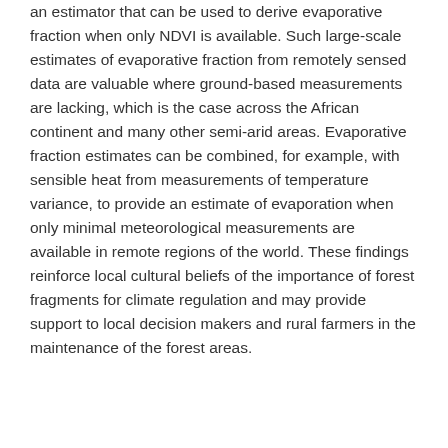an estimator that can be used to derive evaporative fraction when only NDVI is available. Such large-scale estimates of evaporative fraction from remotely sensed data are valuable where ground-based measurements are lacking, which is the case across the African continent and many other semi-arid areas. Evaporative fraction estimates can be combined, for example, with sensible heat from measurements of temperature variance, to provide an estimate of evaporation when only minimal meteorological measurements are available in remote regions of the world. These findings reinforce local cultural beliefs of the importance of forest fragments for climate regulation and may provide support to local decision makers and rural farmers in the maintenance of the forest areas.
Download & links
Article (6308 KB)
Supplement (1980 KB)
BibTeX